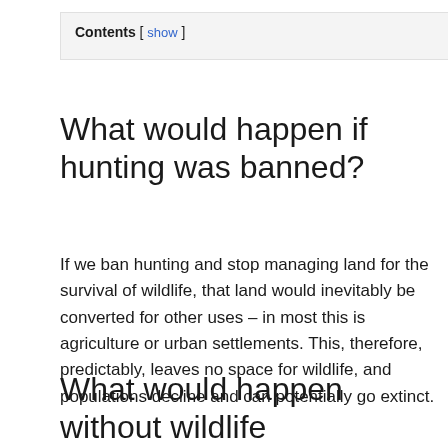Contents [ show ]
What would happen if hunting was banned?
If we ban hunting and stop managing land for the survival of wildlife, that land would inevitably be converted for other uses – in most this is agriculture or urban settlements. This, therefore, predictably, leaves no space for wildlife, and populations decline and can potentially go extinct.
What would happen without wildlife management?